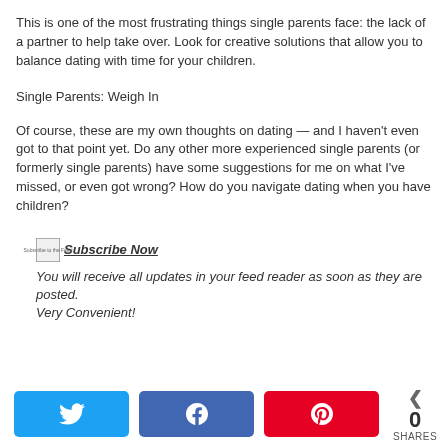This is one of the most frustrating things single parents face: the lack of a partner to help take over. Look for creative solutions that allow you to balance dating with time for your children.
Single Parents: Weigh In
Of course, these are my own thoughts on dating — and I haven't even got to that point yet. Do any other more experienced single parents (or formerly single parents) have some suggestions for me on what I've missed, or even got wrong? How do you navigate dating when you have children?
[Figure (other): Subscribe to the Feed icon image followed by bold italic link text 'Subscribe Now']
You will receive all updates in your feed reader as soon as they are posted.
Very Convenient!
[Figure (infographic): Social share bar with Twitter, Facebook, and Pinterest buttons and a share count of 0 SHARES]